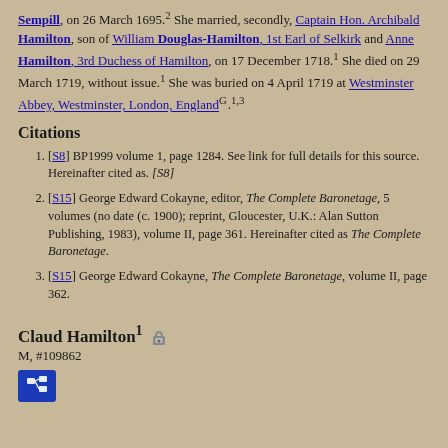Sempill, on 26 March 1695.2 She married, secondly, Captain Hon. Archibald Hamilton, son of William Douglas-Hamilton, 1st Earl of Selkirk and Anne Hamilton, 3rd Duchess of Hamilton, on 17 December 1718.1 She died on 29 March 1719, without issue.1 She was buried on 4 April 1719 at Westminster Abbey, Westminster, London, EnglandG.1,3
Citations
[S8] BP1999 volume 1, page 1284. See link for full details for this source. Hereinafter cited as. [S8]
[S15] George Edward Cokayne, editor, The Complete Baronetage, 5 volumes (no date (c. 1900); reprint, Gloucester, U.K.: Alan Sutton Publishing, 1983), volume II, page 361. Hereinafter cited as The Complete Baronetage.
[S15] George Edward Cokayne, The Complete Baronetage, volume II, page 362.
Claud Hamilton1
M, #109862